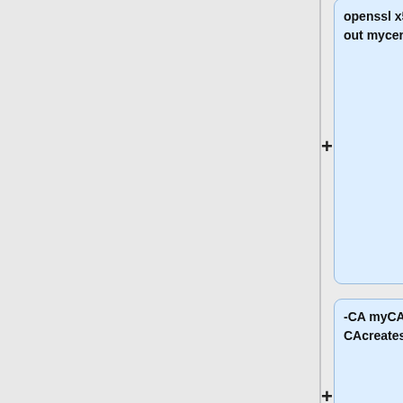[Figure (flowchart): Flowchart showing openssl x509 command parts connected by plus signs. Box 1: 'openssl x509 -req -in mycert1.req -out mycert1.cer -CAkey myCA.key'. Box 2: '-CA myCA.cer -days 365 -CAcreateserial -CAserial serial'. Box 3: (empty). Box 4: 'The certificate created (mycert.cer) can be installed on a web server and accessed from any iOS device that already has the']